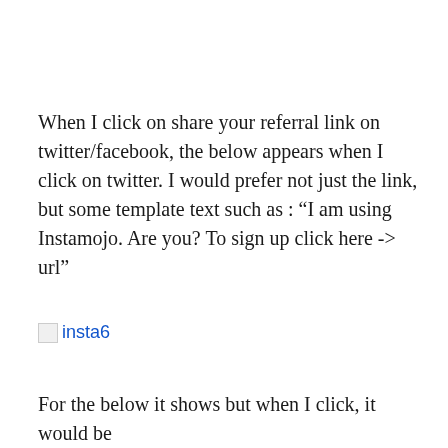When I click on share your referral link on twitter/facebook, the below appears when I click on twitter. I would prefer not just the link, but some template text such as : “I am using Instamojo. Are you? To sign up click here -> url”
[Figure (other): Broken image placeholder labeled 'insta6']
For the below it shows but when I click, it would be